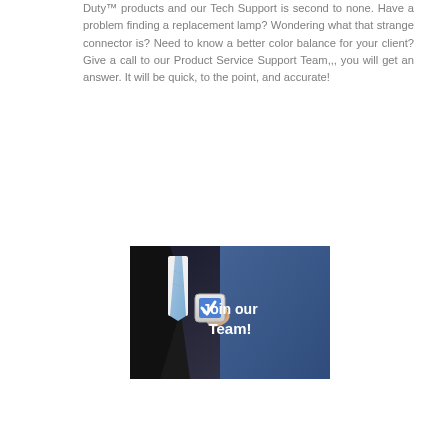Duty™ products and our Tech Support is second to none. Have a problem finding a replacement lamp? Wondering what that strange connector is? Need to know a better color balance for your client? Give a call to our Product Service Support Team,,, you will get an answer. It will be quick, to the point, and accurate!
[Figure (photo): A person in a suit pressing a checkbox button with text 'Join our Team!' in bold white letters on a blue-tinted background.]